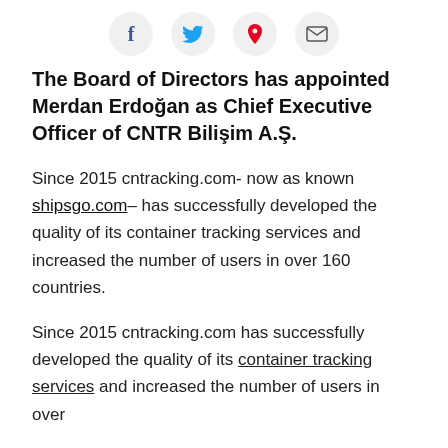[Figure (other): Social sharing icons: Facebook (f), Twitter (bird), Pinterest (P), Email (envelope) — four circular light-gray buttons]
The Board of Directors has appointed Merdan Erdoğan as Chief Executive Officer of CNTR Bilişim A.Ş.
Since 2015 cntracking.com- now as known shipsgo.com– has successfully developed the quality of its container tracking services and increased the number of users in over 160 countries.
Since 2015 cntracking.com has successfully developed the quality of its container tracking services and increased the number of users in over 160 countries.